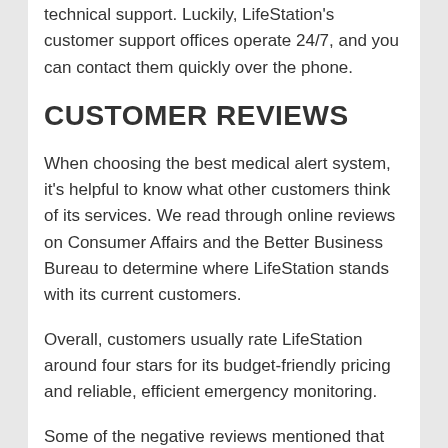technical support. Luckily, LifeStation's customer support offices operate 24/7, and you can contact them quickly over the phone.
CUSTOMER REVIEWS
When choosing the best medical alert system, it's helpful to know what other customers think of its services. We read through online reviews on Consumer Affairs and the Better Business Bureau to determine where LifeStation stands with its current customers.
Overall, customers usually rate LifeStation around four stars for its budget-friendly pricing and reliable, efficient emergency monitoring.
Some of the negative reviews mentioned that setup was complicated for some seniors to do on